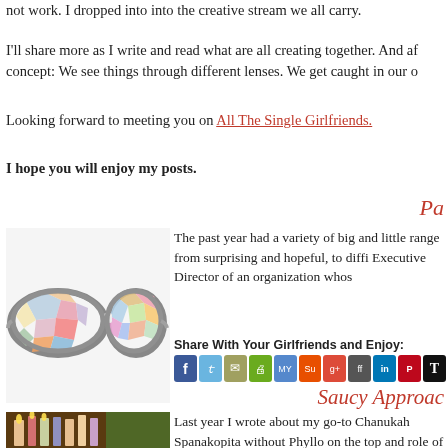not work. I dropped into into the creative stream we all carry.
I'll share more as I write and read what are all creating together. And af concept: We see things through different lenses. We get caught in our o
Looking forward to meeting you on All The Single Girlfriends.
I hope you will enjoy my posts.
Pa
[Figure (photo): Colorful mosaic-style decorative glasses/mask with pastel polygon shapes in pink, blue, orange, yellow, green colors on white background]
The past year had a variety of big and little range from surprising and hopeful, to diffi Executive Director of an organization whos
Share With Your Girlfriends and Enjoy:
Saucy Approac
[Figure (photo): Chanukah menorah scene with candles, decorative items, holiday setting with red and green background]
Last year I wrote about my go-to Chanukah Spanakopita without Phyllo on the top and role of Chanukah Party Provider and I get [
Share With Your Girlfriends and Enjoy: